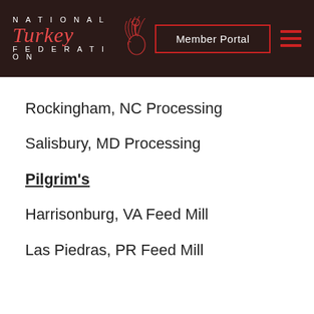[Figure (logo): National Turkey Federation logo with red cursive 'Turkey' text and decorative turkey bird silhouette, on dark brown background, with 'Member Portal' button and hamburger menu icon]
Rockingham, NC Processing
Salisbury, MD Processing
Pilgrim's
Harrisonburg, VA Feed Mill
Las Piedras, PR Feed Mill